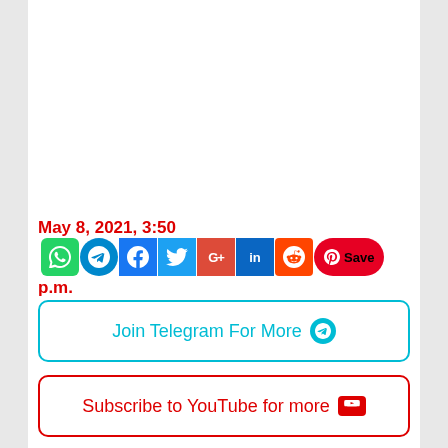May 8, 2021, 3:50 p.m.
[Figure (infographic): Social media share icons: WhatsApp, Telegram, Facebook, Twitter, Google+, LinkedIn, Reddit, Pinterest Save]
Join Telegram For More
Subscribe to YouTube for more
Join Whatsapp for more